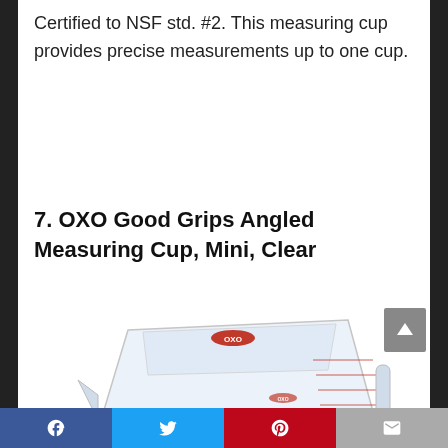Certified to NSF std. #2. This measuring cup provides precise measurements up to one cup.
7. OXO Good Grips Angled Measuring Cup, Mini, Clear
[Figure (photo): OXO Good Grips Angled Mini Measuring Cup, clear with red OXO logo and measurement markings visible inside]
Social share bar: Facebook, Twitter, Pinterest, Email